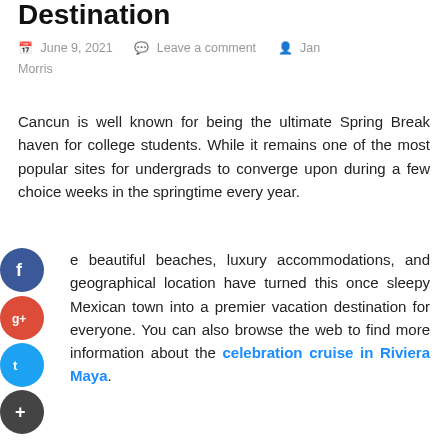Destination
June 9, 2021   Leave a comment   Jan Morris
Cancun is well known for being the ultimate Spring Break haven for college students. While it remains one of the most popular sites for undergrads to converge upon during a few choice weeks in the springtime every year.
e beautiful beaches, luxury accommodations, and geographical location have turned this once sleepy Mexican town into a premier vacation destination for everyone. You can also browse the web to find more information about the celebration cruise in Riviera Maya.